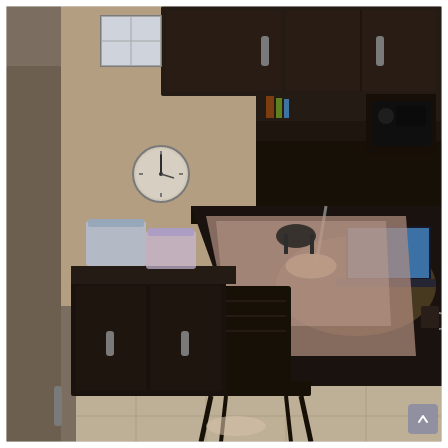[Figure (photo): Interior room photo showing a small home office/study area with dark wood cabinetry. A desk along the right wall holds an open laptop with a lamp, papers, and a headset. A dark wooden chair sits in front of the desk. On the left side is a dark counter with plastic storage containers on top. Upper dark wood cabinets are visible at the top of the image. A round wall clock is visible on the beige/tan wall. The floor is tiled in light beige. A door handle is visible on the left edge. Natural light comes from a small window in the upper left.]